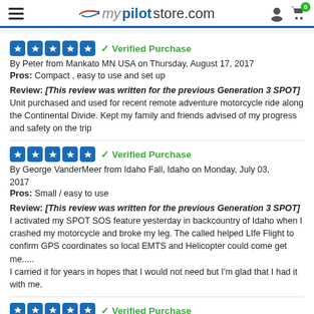mypilotstore.com
5 stars – Verified Purchase
By Peter from Mankato MN USA on Thursday, August 17, 2017
Pros: Compact , easy to use and set up
Review: [This review was written for the previous Generation 3 SPOT] Unit purchased and used for recent remote adventure motorcycle ride along the Continental Divide. Kept my family and friends advised of my progress and safety on the trip
5 stars – Verified Purchase
By George VanderMeer from Idaho Fall, Idaho on Monday, July 03, 2017
Pros: Small / easy to use
Review: [This review was written for the previous Generation 3 SPOT] I activated my SPOT SOS feature yesterday in backcountry of Idaho when I crashed my motorcycle and broke my leg. The called helped LIfe Flight to confirm GPS coordinates so local EMTS and Helicopter could come get me.....
I carried it for years in hopes that I would not need but I'm glad that I had it with me.
5 stars – Verified Purchase (partial, cut off)